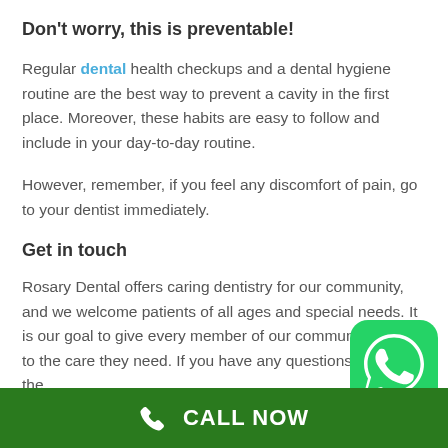Don't worry, this is preventable!
Regular dental health checkups and a dental hygiene routine are the best way to prevent a cavity in the first place. Moreover, these habits are easy to follow and include in your day-to-day routine.
However, remember, if you feel any discomfort of pain, go to your dentist immediately.
Get in touch
Rosary Dental offers caring dentistry for our community, and we welcome patients of all ages and special needs. It is our goal to give every member of our community access to the care they need. If you have any questions regarding the
[Figure (logo): WhatsApp green logo icon]
CALL NOW